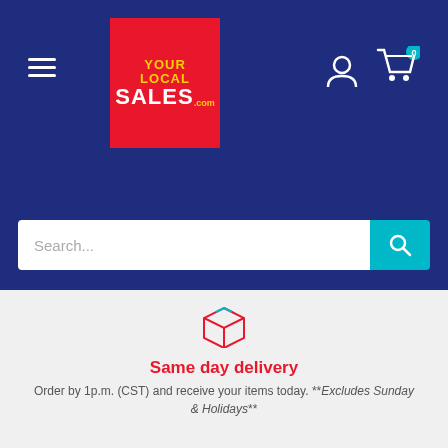[Figure (logo): Your Local Sales .com logo — red background, yellow text YOUR LOCAL, white text SALES, yellow .com]
[Figure (screenshot): Navigation header with dark blue background, hamburger menu, logo, user icon, cart icon with 0 badge, and search bar]
[Figure (illustration): Red outline box/package icon for same day delivery]
Same day delivery
Order by 1p.m. (CST) and receive your items today. **Excludes Sunday & Holidays**
[Figure (illustration): Teal/cyan return cart icon for satisfied or refunded]
Satisfied or refunded
See our return/exchange policy.